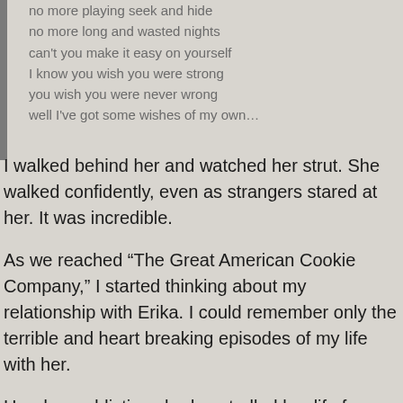no more playing seek and hide
no more long and wasted nights
can't you make it easy on yourself
I know you wish you were strong
you wish you were never wrong
well I've got some wishes of my own…
I walked behind her and watched her strut. She walked confidently, even as strangers stared at her. It was incredible.
As we reached “The Great American Cookie Company,” I started thinking about my relationship with Erika. I could remember only the terrible and heart breaking episodes of my life with her.
Her drug addictions had controlled her life for a long time, as had her alcohol abuse, lying, cheating and stealing. She alienated my family by constantly defying our moral beliefs. When she went to boarding school after she was arrested, her